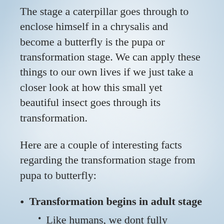The stage a caterpillar goes through to enclose himself in a chrysalis and become a butterfly is the pupa or transformation stage. We can apply these things to our own lives if we just take a closer look at how this small yet beautiful insect goes through its transformation.
Here are a couple of interesting facts regarding the transformation stage from pupa to butterfly:
Transformation begins in adult stage
Like humans, we dont fully understand what we what we truly want out of life